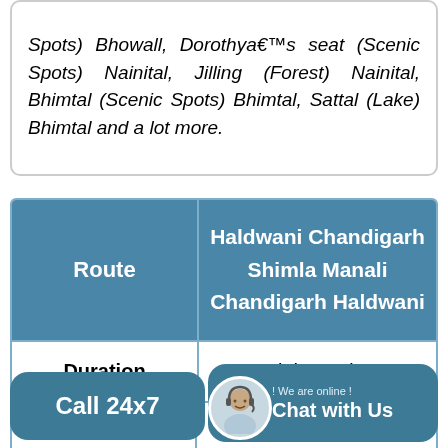Spots) Bhowall, Dorothya€™s seat (Scenic Spots) Nainital, Jilling (Forest) Nainital, Bhimtal (Scenic Spots) Bhimtal, Sattal (Lake) Bhimtal and a lot more.
| Route | Haldwani Chandigarh Shimla Manali Chandigarh Haldwani |
| --- | --- |
| Duration | 6 nights 7 days |
| n (partial) |  |